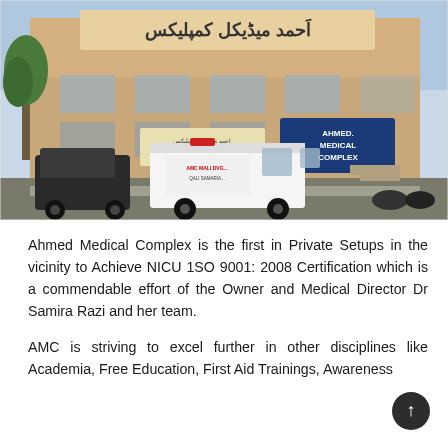[Figure (photo): Exterior photograph of Ahmed Medical Complex building, a multi-story tan/beige building with Urdu script signage on top and an 'AHMED MEDICAL COMPLEX' sign board. An ambulance van is parked in front along with a dark SUV and motorcycles.]
Ahmed Medical Complex is the first in Private Setups in the vicinity to Achieve NICU 1SO 9001: 2008 Certification which is a commendable effort of the Owner and Medical Director Dr Samira Razi and her team.
AMC is striving to excel further in other disciplines like Academia, Free Education, First Aid Trainings, Awareness